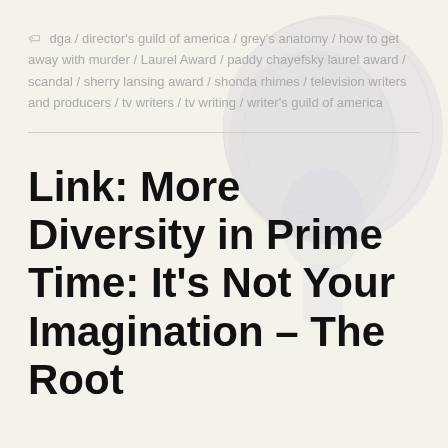dga / director's guild of america / grey's anatomy / how to get away with murder / Laurel Award / paddy chayefsky laurel award / scandal / sherry lansing award / shonda rhimes / television writers and producers / tv writers / tv writing / writer's guild of america
[Figure (illustration): Faint grey silhouette of a person's head with an afro hairstyle, used as a decorative background image]
Link: More Diversity in Prime Time: It's Not Your Imagination – The Root